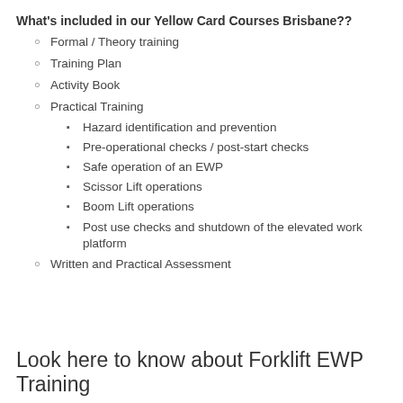What's included in our Yellow Card Courses Brisbane??
Formal / Theory training
Training Plan
Activity Book
Practical Training
Hazard identification and prevention
Pre-operational checks / post-start checks
Safe operation of an EWP
Scissor Lift operations
Boom Lift operations
Post use checks and shutdown of the elevated work platform
Written and Practical Assessment
Look here to know about Forklift EWP Training